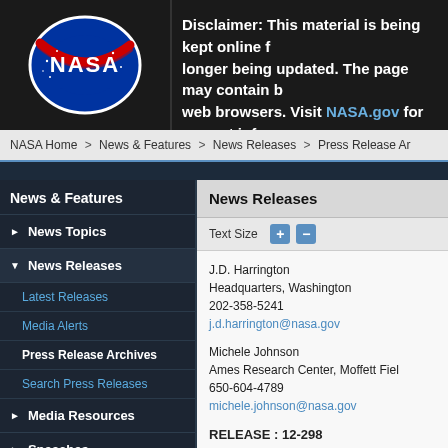[Figure (logo): NASA meatball logo on dark background]
Disclaimer: This material is being kept online for longer being updated. The page may contain broken links or outdated information. web browsers. Visit NASA.gov for current info
NASA Home > News & Features > News Releases > Press Release Archives
News & Features
News Topics
News Releases
Latest Releases
Media Alerts
Press Release Archives
Search Press Releases
Media Resources
Speeches
Budgets & Plans
Reports
News Releases
Text Size
J.D. Harrington
Headquarters, Washington
202-358-5241
j.d.harrington@nasa.gov
Michele Johnson
Ames Research Center, Moffett Field
650-604-4789
michele.johnson@nasa.gov
RELEASE : 12-298
NASA's Kepler Discovers Multiple